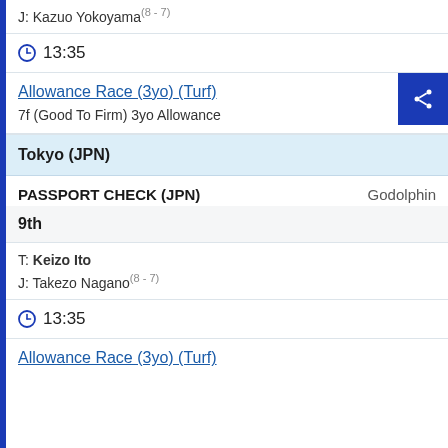J: Kazuo Yokoyama (8 - 7)
⊙ 13:35
Allowance Race (3yo) (Turf)
7f (Good To Firm) 3yo Allowance
Tokyo (JPN)
PASSPORT CHECK (JPN)    Godolphin
9th
T: Keizo Ito
J: Takezo Nagano (8 - 7)
⊙ 13:35
Allowance Race (3yo) (Turf)